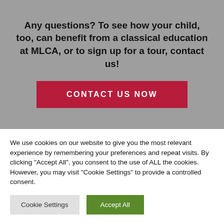Any questions? To see how your child, too, can benefit from a classical education at MLCA, or to sign up for a tour, contact us!
CONTACT US NOW
We use cookies on our website to give you the most relevant experience by remembering your preferences and repeat visits. By clicking "Accept All", you consent to the use of ALL the cookies. However, you may visit "Cookie Settings" to provide a controlled consent.
Cookie Settings
Accept All